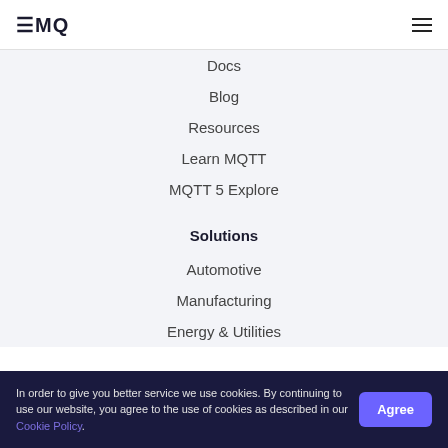EMQ
Docs
Blog
Resources
Learn MQTT
MQTT 5 Explore
Solutions
Automotive
Manufacturing
Energy & Utilities
In order to give you better service we use cookies. By continuing to use our website, you agree to the use of cookies as described in our Cookie Policy.